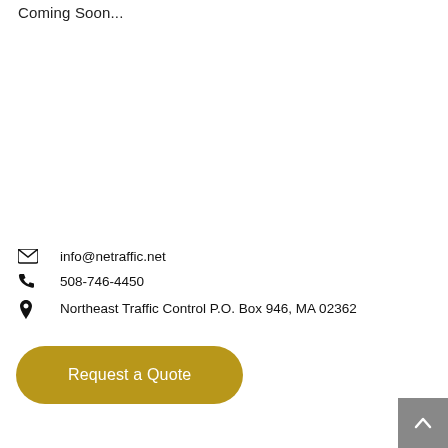Coming Soon...
info@netraffic.net
508-746-4450
Northeast Traffic Control P.O. Box 946, MA 02362
Request a Quote